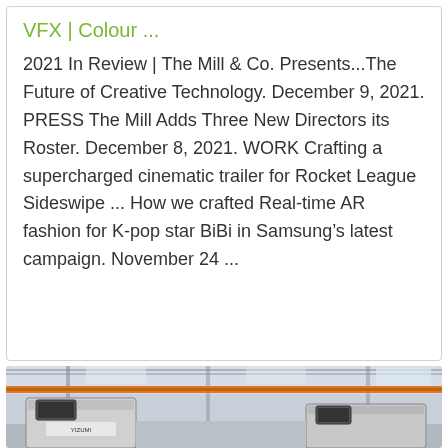VFX | Colour ...
2021 In Review | The Mill & Co. Presents...The Future of Creative Technology. December 9, 2021. PRESS The Mill Adds Three New Directors its Roster. December 8, 2021. WORK Crafting a supercharged cinematic trailer for Rocket League Sideswipe ... How we crafted Real-time AR fashion for K-pop star BiBi in Samsung's latest campaign. November 24 ...
[Figure (photo): Industrial factory interior with large machinery (injection molding or similar manufacturing equipment) in gray/white, an orange overhead crane rail visible along the ceiling, and a bright industrial space with metal roof trusses.]